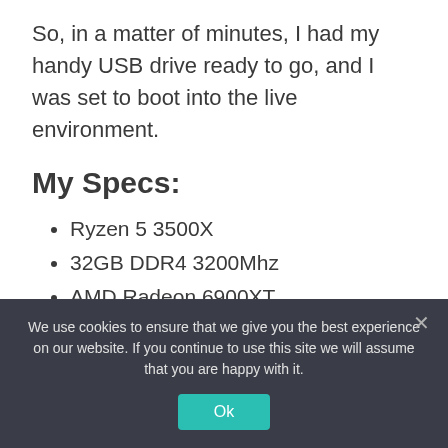So, in a matter of minutes, I had my handy USB drive ready to go, and I was set to boot into the live environment.
My Specs:
Ryzen 5 3500X
32GB DDR4 3200Mhz
AMD Radeon 6900XT
2x 1080P Screens + 1x 21: 9 1440P Screen
Audio through DAC / Amp combo unit plugged in via USB-C
We use cookies to ensure that we give you the best experience on our website. If you continue to use this site we will assume that you are happy with it.